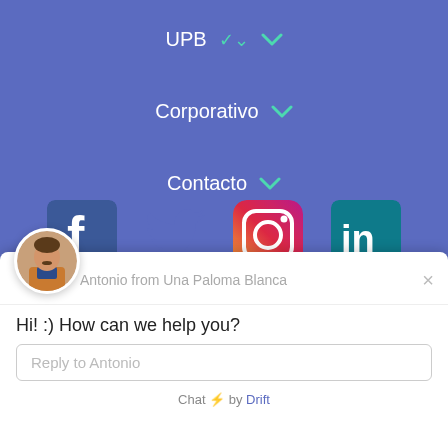UPB ˅
Corporativo ˅
Contacto ˅
[Figure (other): Social media icons: Facebook, Twitter, Instagram, LinkedIn]
[Figure (other): Chat popup widget with avatar of Antonio from Una Paloma Blanca, message 'Hi! :) How can we help you?', reply input box 'Reply to Antonio', and footer 'Chat ⚡ by Drift']
Antonio from Una Paloma Blanca
Hi! :) How can we help you?
Reply to Antonio
Chat ⚡ by Drift